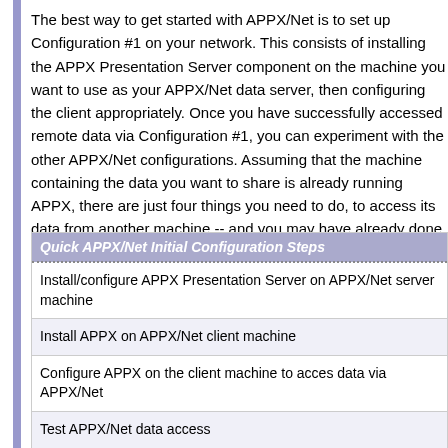The best way to get started with APPX/Net is to set up Configuration #1 on your network. This consists of installing the APPX Presentation Server component on the machine you want to use as your APPX/Net data server, then configuring the client appropriately. Once you have successfully accessed remote data via Configuration #1, you can experiment with the other APPX/Net configurations. Assuming that the machine containing the data you want to share is already running APPX, there are just four things you need to do, to access its data from another machine -- and you may have already done some of them!
| Quick APPX/Net Initial Configuration Steps |
| --- |
| Install/configure APPX Presentation Server on APPX/Net server machine |
| Install APPX on APPX/Net client machine |
| Configure APPX on the client machine to acces data via APPX/Net |
| Test APPX/Net data access |